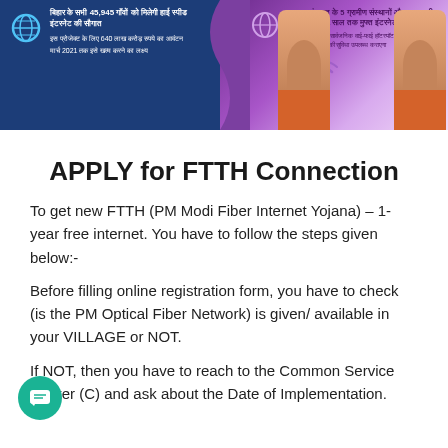[Figure (infographic): Government banner for FTTH/PM Modi Fiber Internet Yojana scheme showing Hindi text about 45,945 villages in Bihar getting high speed internet, with PM's photo, globe and WiFi icons, purple and blue gradient background]
APPLY for FTTH Connection
To get new FTTH (PM Modi Fiber Internet Yojana) – 1-year free internet. You have to follow the steps given below:-
Before filling online registration form, you have to check (is the PM Optical Fiber Network) is given/ available in your VILLAGE or NOT.
If NOT, then you have to reach to the Common Service Center (C) and ask about the Date of Implementation.